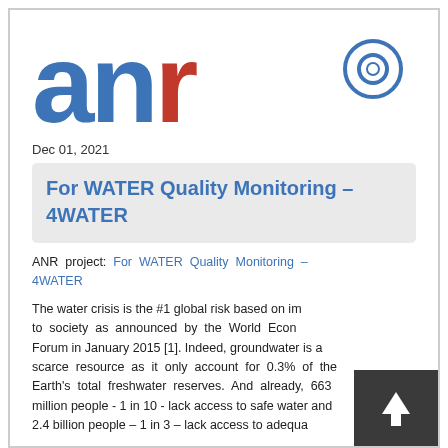[Figure (logo): ANR logo with large bold 'anr' text in blue and red, with a blue circle/degree symbol in the top right]
Dec 01, 2021
For WATER Quality Monitoring – 4WATER
ANR project: For WATER Quality Monitoring – 4WATER
The water crisis is the #1 global risk based on impact to society as announced by the World Economic Forum in January 2015 [1]. Indeed, groundwater is a scarce resource as it only account for 0.3% of the Earth's total freshwater reserves. And already, 663 million people - 1 in 10 - lack access to safe water and 2.4 billion people – 1 in 3 – lack access to adequate